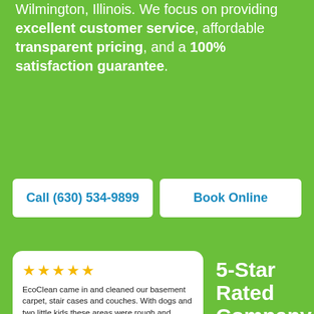Wilmington, Illinois. We focus on providing excellent customer service, affordable transparent pricing, and a 100% satisfaction guarantee.
Call (630) 534-9899
Book Online
★★★★★
EcoClean came in and cleaned our basement carpet, stair cases and couches. With dogs and two little kids these areas were rough and needed TLC. It was done efficiently and AFFORDABLE. My wife is happy and that's all that matters! Thanks EcoClean!
~ Jeffrey Kohl
5-Star Rated Company
★★★★★
Impressive!! Very professional team. We've used EcoClean 3 times now and they get the job done right. We have 4 little dogs and they love walking all over our couch which is fabric and causes it to